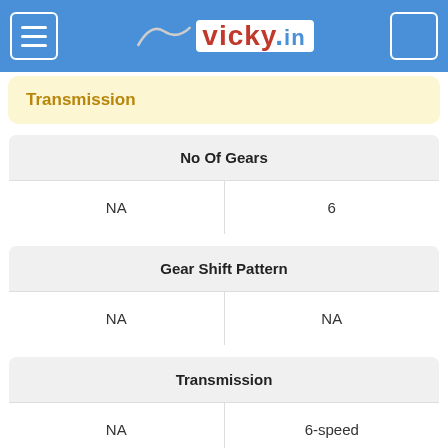vicky.in
Transmission
| No Of Gears |
| --- |
| NA | 6 |
| Gear Shift Pattern |
| --- |
| NA | NA |
| Transmission |
| --- |
| NA | 6-speed |
| Clutch |
| --- |